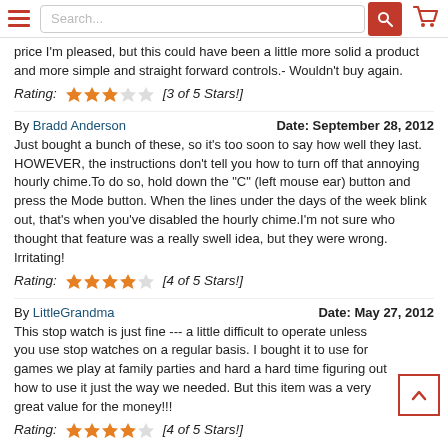Search... [navigation bar with hamburger menu, search box, and cart icon]
price I'm pleased, but this could have been a little more solid a product and more simple and straight forward controls.- Wouldn't buy again.
Rating: [3 of 5 Stars!]
By Bradd Anderson   Date: September 28, 2012
Just bought a bunch of these, so it's too soon to say how well they last. HOWEVER, the instructions don't tell you how to turn off that annoying hourly chime.To do so, hold down the "C" (left mouse ear) button and press the Mode button. When the lines under the days of the week blink out, that's when you've disabled the hourly chime.I'm not sure who thought that feature was a really swell idea, but they were wrong. Irritating!
Rating: [4 of 5 Stars!]
By LittleGrandma   Date: May 27, 2012
This stop watch is just fine --- a little difficult to operate unless you use stop watches on a regular basis. I bought it to use for games we play at family parties and hard a hard time figuring out how to use it just the way we needed. But this item was a very great value for the money!!!
Rating: [4 of 5 Stars!]